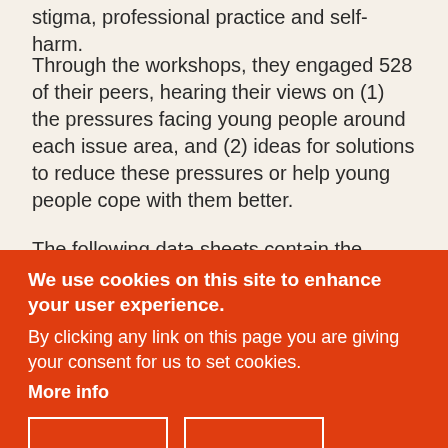stigma, professional practice and self-harm.
Through the workshops, they engaged 528 of their peers, hearing their views on (1) the pressures facing young people around each issue area, and (2) ideas for solutions to reduce these pressures or help young people cope with them better.
The following data sheets contain the information collected at the Roadshows. They include at least one Roadshow participant quotation for each point raised across the events:
We use cookies on this site to enhance your user experience.
By clicking any link on this page you are giving your consent for us to set cookies.
More info